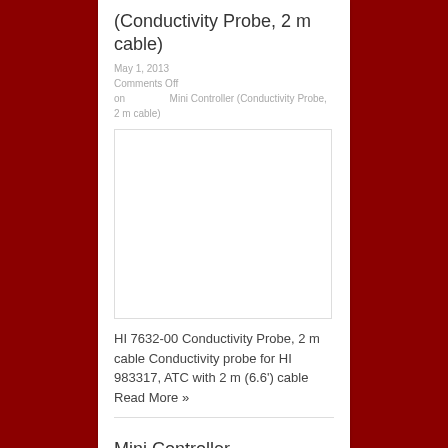(Conductivity Probe, 2 m cable)
May 1, 2013
Comments Off on Mini Controller (Conductivity Probe, 2 m cable)
[Figure (photo): Product image placeholder for HI 7632-00 Conductivity Probe]
HI 7632-00 Conductivity Probe, 2 m cable Conductivity probe for HI 983317, ATC with 2 m (6.6') cable Read More »
Mini Controller